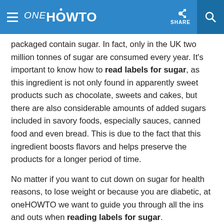ONE HOWTO | SHARE
packaged contain sugar. In fact, only in the UK two million tonnes of sugar are consumed every year. It's important to know how to read labels for sugar, as this ingredient is not only found in apparently sweet products such as chocolate, sweets and cakes, but there are also considerable amounts of added sugars included in savory foods, especially sauces, canned food and even bread. This is due to the fact that this ingredient boosts flavors and helps preserve the products for a longer period of time.
No matter if you want to cut down on sugar for health reasons, to lose weight or because you are diabetic, at oneHOWTO we want to guide you through all the ins and outs when reading labels for sugar.
You may also be interested in: How many Grams are